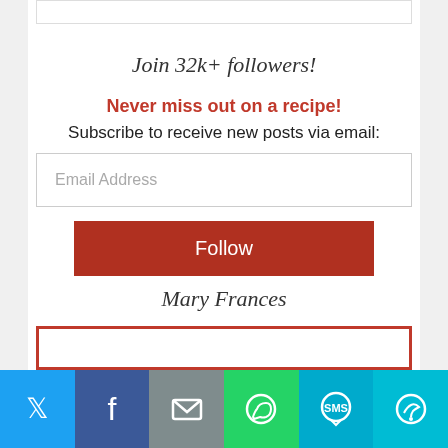Join 32k+ followers!
Never miss out on a recipe!
Subscribe to receive new posts via email:
Email Address
Follow
Mary Frances
[Figure (screenshot): Red-bordered box at the bottom of the newsletter widget]
[Figure (infographic): Social sharing bar with icons for Twitter (blue), Facebook (dark blue), Email (grey), WhatsApp (green), SMS (light blue), and More (cyan)]